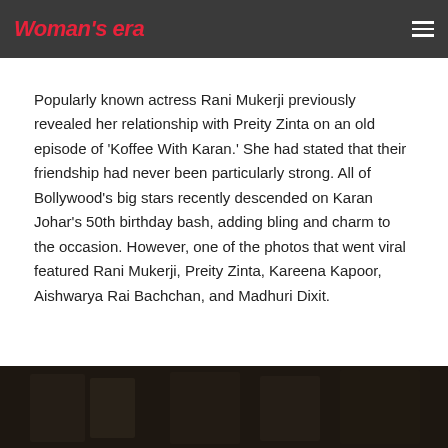Woman's era
Popularly known actress Rani Mukerji previously revealed her relationship with Preity Zinta on an old episode of ‘Koffee With Karan.’ She had stated that their friendship had never been particularly strong. All of Bollywood’s big stars recently descended on Karan Johar’s 50th birthday bash, adding bling and charm to the occasion. However, one of the photos that went viral featured Rani Mukerji, Preity Zinta, Kareena Kapoor, Aishwarya Rai Bachchan, and Madhuri Dixit.
[Figure (photo): Dark photograph showing a group of Bollywood celebrities at Karan Johar's 50th birthday party, partially visible at the bottom of the page]